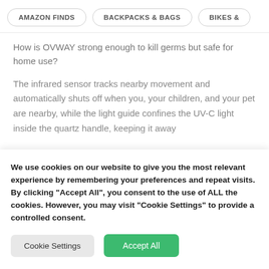AMAZON FINDS | BACKPACKS & BAGS | BIKES &...
How is OVWAY strong enough to kill germs but safe for home use?
The infrared sensor tracks nearby movement and automatically shuts off when you, your children, and your pet are nearby, while the light guide confines the UV-C light inside the quartz handle, keeping it away
We use cookies on our website to give you the most relevant experience by remembering your preferences and repeat visits. By clicking "Accept All", you consent to the use of ALL the cookies. However, you may visit "Cookie Settings" to provide a controlled consent.